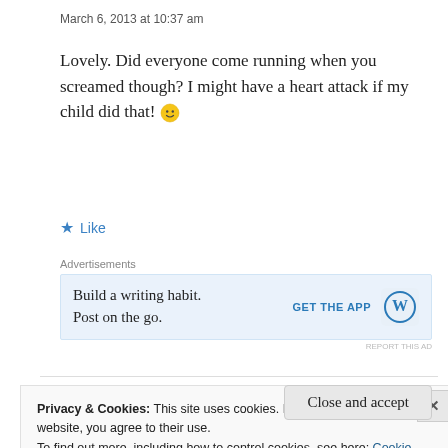March 6, 2013 at 10:37 am
Lovely. Did everyone come running when you screamed though? I might have a heart attack if my child did that! 🙂
★ Like
Advertisements
[Figure (screenshot): Advertisement banner: Build a writing habit. Post on the go. GET THE APP with WordPress logo]
Privacy & Cookies: This site uses cookies. By continuing to use this website, you agree to their use. To find out more, including how to control cookies, see here: Cookie Policy
Close and accept